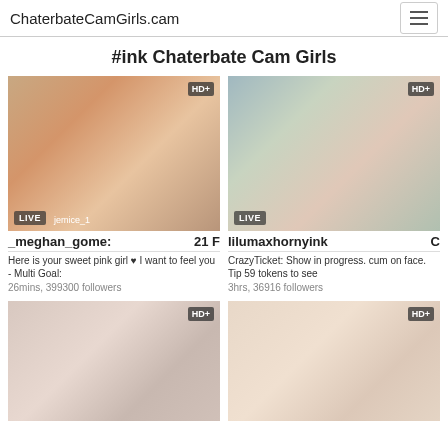ChaterbateCamGirls.cam
#ink Chaterbate Cam Girls
[Figure (photo): Live webcam thumbnail of _meghan_gome, young woman in orange top, HD+ badge, LIVE badge]
_meghan_gome: 21 F
Here is your sweet pink girl ♥ I want to feel you - Multi Goal:
26mins, 399300 followers
[Figure (photo): Live webcam thumbnail of lilumaxhornyink, tattooed person, HD+ badge, LIVE badge]
lilumaxhornyink C
CrazyTicket: Show in progress. cum on face. Tip 59 tokens to see
3hrs, 36916 followers
[Figure (photo): Live webcam thumbnail, partial body shot, HD+ badge]
[Figure (photo): Live webcam thumbnail, blonde woman, HD+ badge]